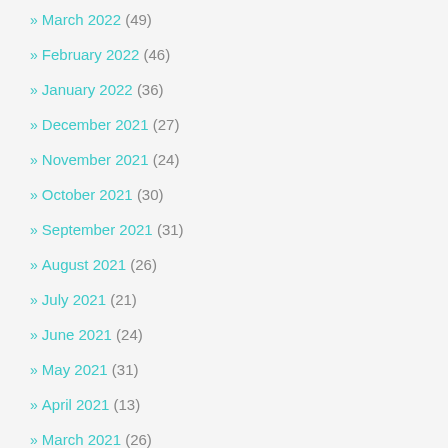» March 2022 (49)
» February 2022 (46)
» January 2022 (36)
» December 2021 (27)
» November 2021 (24)
» October 2021 (30)
» September 2021 (31)
» August 2021 (26)
» July 2021 (21)
» June 2021 (24)
» May 2021 (31)
» April 2021 (13)
» March 2021 (26)
» February 2021 (26)
» January 2021 (32)
» December 2020 (26)